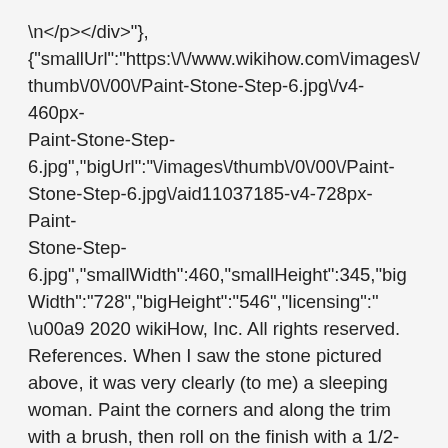\n<\/p><\/div>"}, {"smallUrl":"https:\/\/www.wikihow.com\/images\/thumb\/0\/00\/Paint-Stone-Step-6.jpg\/v4-460px-Paint-Stone-Step-6.jpg","bigUrl":"\/images\/thumb\/0\/00\/Paint-Stone-Step-6.jpg\/aid11037185-v4-728px-Paint-Stone-Step-6.jpg","smallWidth":460,"smallHeight":345,"bigWidth":"728","bigHeight":"546","licensing":"\u00a9 2020 wikiHow, Inc. All rights reserved. References. When I saw the stone pictured above, it was very clearly (to me) a sleeping woman. Paint the corners and along the trim with a brush, then roll on the finish with a 1/2- or 3/4-inch-nap roller. With Unicorn SPiT Gel Stain you can create really cool 3D canvas art with a press method and varying amounts of product. I'm up for painting just about anything — wood, brick, concrete, new, vintage, antique. A: You can paint most stone fireplaces (limestone, sandstone, and river rock do not lend...